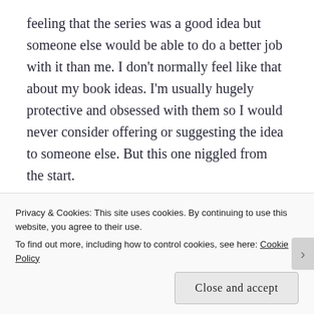feeling that the series was a good idea but someone else would be able to do a better job with it than me. I don't normally feel like that about my book ideas. I'm usually hugely protective and obsessed with them so I would never consider offering or suggesting the idea to someone else. But this one niggled from the start.
I started book one about a year ago but had to keep stopping to get other books finished and published. I was initially quite surprised with how well it went. The first chapters flew out of me effortlessly and were
Privacy & Cookies: This site uses cookies. By continuing to use this website, you agree to their use.
To find out more, including how to control cookies, see here: Cookie Policy
Close and accept